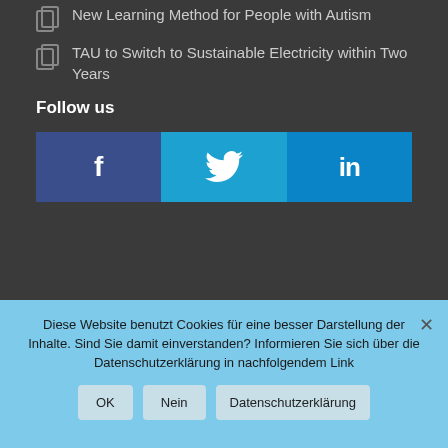New Learning Method for People with Autism
TAU to Switch to Sustainable Electricity within Two Years
Follow us
[Figure (infographic): Three social media buttons: Facebook (dark blue with f icon), Twitter (light blue with bird icon), LinkedIn (blue with in icon)]
Diese Website benutzt Cookies für eine besser Darstellung der Inhalte. Sind Sie damit einverstanden? Informieren Sie sich über die Datenschutzerklärung in nachfolgendem Link
OK | Nein | Datenschutzerklärung